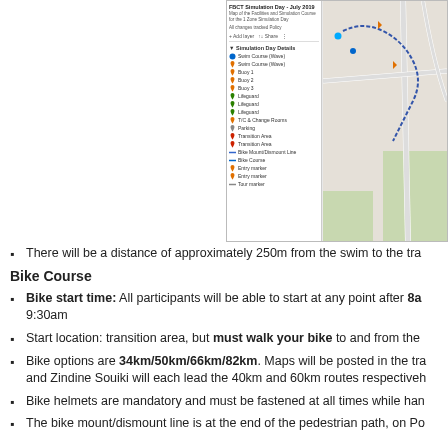[Figure (screenshot): Screenshot of FBCT Simulation Day July 2019 map showing course details panel with legend items including Swim Course, Buoy 1, Buoy 2, Buoy 3, Lifeguard (x3), T/C & Change Rooms, Parking, Transition Area (x2), Bike Mount/Dismount Line, Bike Course, Entry marker, Entry marker, Tour marker. Map shows road/path layout on right side.]
There will be a distance of approximately 250m from the swim to the tra
Bike Course
Bike start time: All participants will be able to start at any point after 8a 9:30am
Start location: transition area, but must walk your bike to and from the
Bike options are 34km/50km/66km/82km. Maps will be posted in the tra and Zindine Souiki will each lead the 40km and 60km routes respectiveh
Bike helmets are mandatory and must be fastened at all times while han
The bike mount/dismount line is at the end of the pedestrian path, on Po